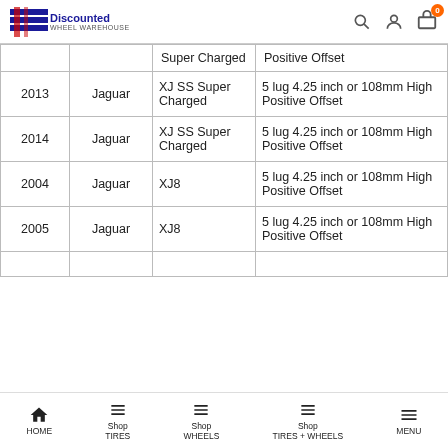Discounted Wheel Warehouse
| Year | Make | Model | Bolt Pattern |
| --- | --- | --- | --- |
|  |  | Super Charged | Positive Offset |
| 2013 | Jaguar | XJ SS Super Charged | 5 lug 4.25 inch or 108mm High Positive Offset |
| 2014 | Jaguar | XJ SS Super Charged | 5 lug 4.25 inch or 108mm High Positive Offset |
| 2004 | Jaguar | XJ8 | 5 lug 4.25 inch or 108mm High Positive Offset |
| 2005 | Jaguar | XJ8 | 5 lug 4.25 inch or 108mm High Positive Offset |
|  |  |  |  |
HOME | Shop TIRES | Shop WHEELS | Shop TIRES + WHEELS | MENU